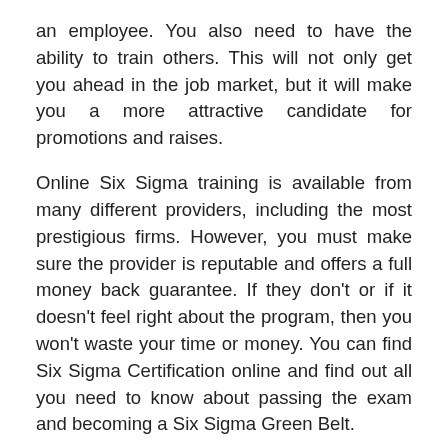an employee. You also need to have the ability to train others. This will not only get you ahead in the job market, but it will make you a more attractive candidate for promotions and raises.
Online Six Sigma training is available from many different providers, including the most prestigious firms. However, you must make sure the provider is reputable and offers a full money back guarantee. If they don’t or if it doesn’t feel right about the program, then you won’t waste your time or money. You can find Six Sigma Certification online and find out all you need to know about passing the exam and becoming a Six Sigma Green Belt.
If you’re wondering how to choose the right Six Sigma Green Belt course for you, consider your current level of training, the needs of your job and career, and which providers offer the type of curriculum you are looking for. Different Six Sigma Green Belt courses focus on different aspects of Six Sigma. There are some that focus on tools